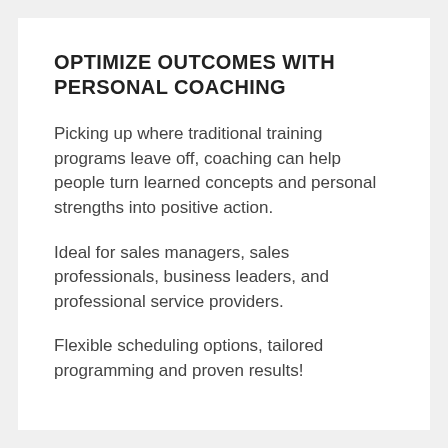OPTIMIZE OUTCOMES WITH PERSONAL COACHING
Picking up where traditional training programs leave off, coaching can help people turn learned concepts and personal strengths into positive action.
Ideal for sales managers, sales professionals, business leaders, and professional service providers.
Flexible scheduling options, tailored programming and proven results!